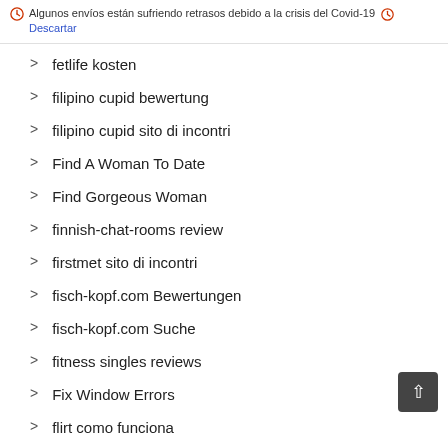Algunos envíos están sufriendo retrasos debido a la crisis del Covid-19  Descartar
fetlife kosten
filipino cupid bewertung
filipino cupid sito di incontri
Find A Woman To Date
Find Gorgeous Woman
finnish-chat-rooms review
firstmet sito di incontri
fisch-kopf.com Bewertungen
fisch-kopf.com Suche
fitness singles reviews
Fix Window Errors
flirt como funciona
flirt italia
flirt kosten